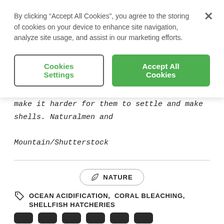By clicking “Accept All Cookies”, you agree to the storing of cookies on your device to enhance site navigation, analyze site usage, and assist in our marketing efforts.
Cookies Settings
Accept All Cookies
make it harder for them to settle and make shells. Naturalmen and Mountain/Shutterstock
NATURE
OCEAN ACIDIFICATION,  CORAL BLEACHING,  SHELLFISH HATCHERIES